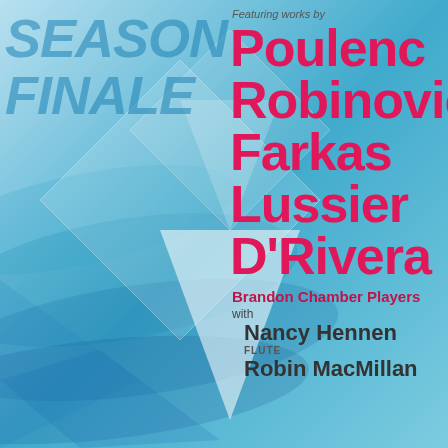[Figure (illustration): Concert poster with blue geometric background featuring overlapping triangles, diamonds, and wave-like shapes. Left side shows 'SEASON FINALE' in large semi-transparent blue italic text. Right side contains composer names, ensemble info, and performer details.]
SEASON FINALE
Featuring works by
Poulenc
Robinovic
Farkas
Lussier
D'Rivera
Brandon Chamber Players
with
Nancy Hennen
FLUTE
Robin MacMillan